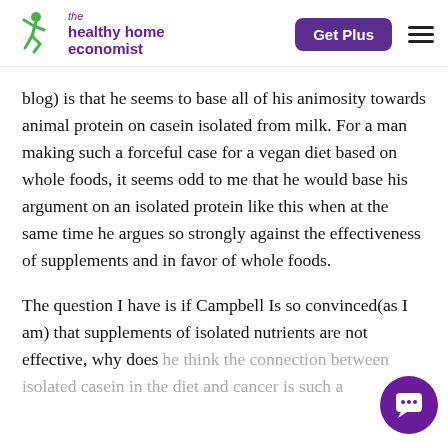the healthy home economist | Get Plus
blog) is that he seems to base all of his animosity towards animal protein on casein isolated from milk. For a man making such a forceful case for a vegan diet based on whole foods, it seems odd to me that he would base his argument on an isolated protein like this when at the same time he argues so strongly against the effectiveness of supplements and in favor of whole foods.
The question I have is if Campbell Is so convinced(as I am) that supplements of isolated nutrients are not effective, why does he think the connection between isolated casein in the diet and cancer is such a